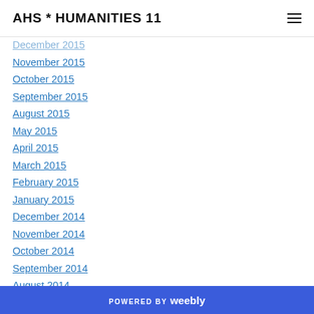AHS * HUMANITIES 11
December 2015
November 2015
October 2015
September 2015
August 2015
May 2015
April 2015
March 2015
February 2015
January 2015
December 2014
November 2014
October 2014
September 2014
August 2014
POWERED BY weebly